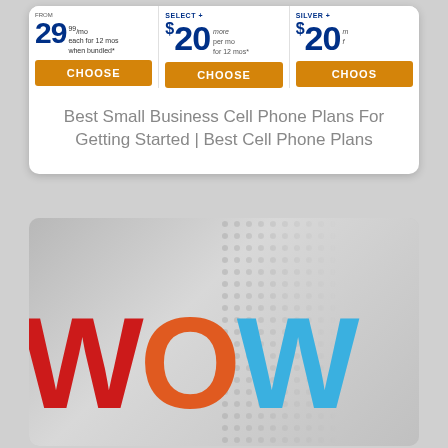[Figure (screenshot): Pricing card showing three cell phone plan columns (FROM $29.99/mo, SELECT+ $20 more per mo, SILVER+ $20 more per mo) each with a gold CHOOSE button, followed by centered gray text: Best Small Business Cell Phone Plans For Getting Started | Best Cell Phone Plans]
Best Small Business Cell Phone Plans For Getting Started | Best Cell Phone Plans
[Figure (logo): WOW logo on a gray textured halftone background. W in red, O in orange-to-blue gradient, W in blue. Large bold letters partially cropped at right edge.]